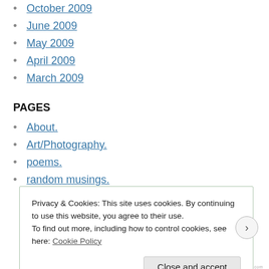October 2009
June 2009
May 2009
April 2009
March 2009
PAGES
About.
Art/Photography.
poems.
random musings.
Privacy & Cookies: This site uses cookies. By continuing to use this website, you agree to their use.
To find out more, including how to control cookies, see here: Cookie Policy
Close and accept